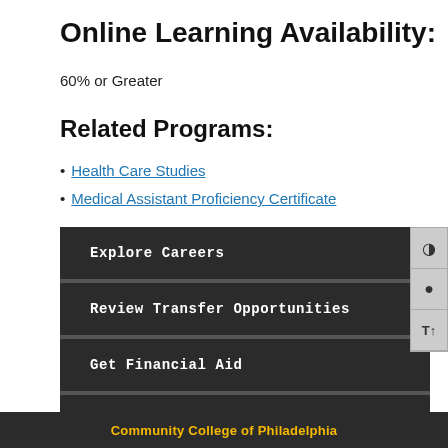Online Learning Availability:
60% or Greater
Related Programs:
Health Care Studies
Medical Assistant Proficiency Certificate
Explore Careers
Review Transfer Opportunities
Get Financial Aid
View the College Catalog
Apply to the College
Community College of Philadelphia